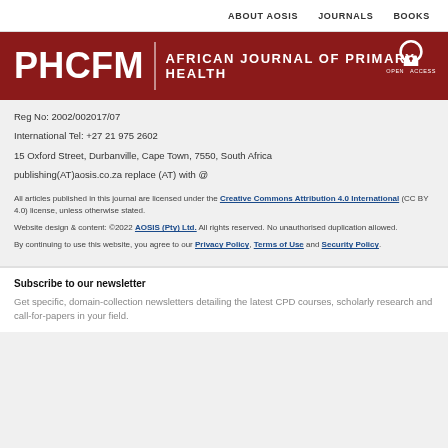ABOUT AOSIS   JOURNALS   BOOKS
[Figure (logo): PHCFM African Journal of Primary Health journal banner with dark red background, PHCFM logo text, Open Access badge]
Reg No: 2002/002017/07
International Tel: +27 21 975 2602
15 Oxford Street, Durbanville, Cape Town, 7550, South Africa
publishing(AT)aosis.co.za replace (AT) with @
All articles published in this journal are licensed under the Creative Commons Attribution 4.0 International (CC BY 4.0) license, unless otherwise stated.
Website design & content: ©2022 AOSIS (Pty) Ltd. All rights reserved. No unauthorised duplication allowed.
By continuing to use this website, you agree to our Privacy Policy, Terms of Use and Security Policy.
Subscribe to our newsletter
Get specific, domain-collection newsletters detailing the latest CPD courses, scholarly research and call-for-papers in your field.